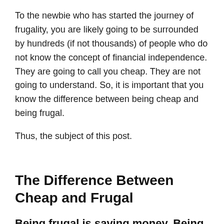To the newbie who has started the journey of frugality, you are likely going to be surrounded by hundreds (if not thousands) of people who do not know the concept of financial independence. They are going to call you cheap. They are not going to understand. So, it is important that you know the difference between being cheap and being frugal.
Thus, the subject of this post.
The Difference Between Cheap and Frugal
Being frugal is saving money. Being cheap is saving money at the expense of others.